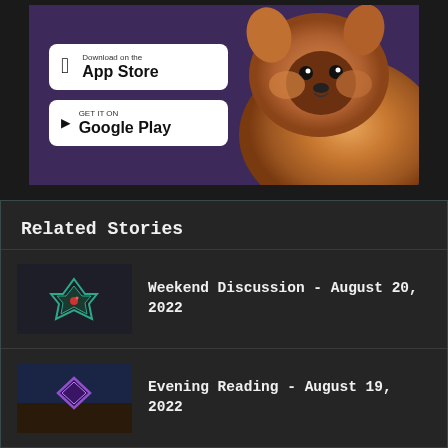[Figure (screenshot): App store download banner with Apple App Store and Google Play buttons, with a Pomeranian dog photo on the right, on a purple background]
Related Stories
Weekend Discussion - August 20, 2022
Evening Reading - August 19, 2022
Madden NFL 23 review: In the Maddenverse of Badness
Shack Chat: What's your favorite...